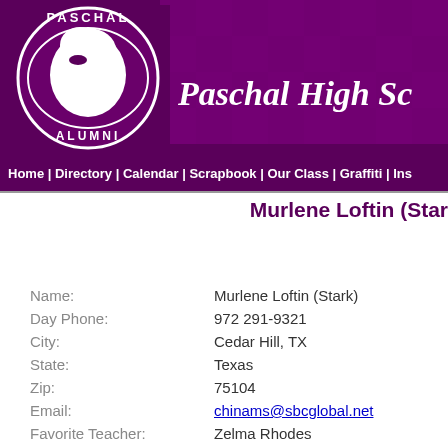[Figure (logo): Paschal High School Alumni logo with panther mascot in a circle, on purple checkerboard banner background with text 'Paschal High Sc...']
Home | Directory | Calendar | Scrapbook | Our Class | Graffiti | Ins...
Murlene Loftin (Star...
| Name: | Murlene Loftin (Stark) |
| Day Phone: | 972 291-9321 |
| City: | Cedar Hill, TX |
| State: | Texas |
| Zip: | 75104 |
| Email: | chinams@sbcglobal.net |
| Favorite Teacher: | Zelma Rhodes |